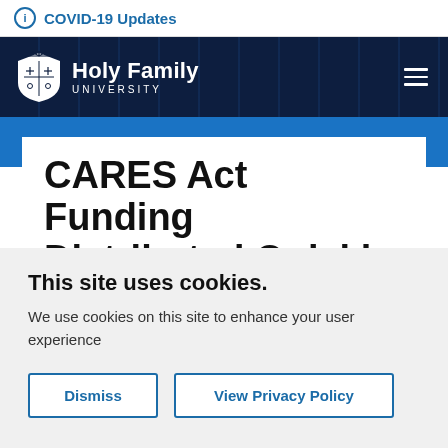COVID-19 Updates
[Figure (logo): Holy Family University logo with crest and text]
CARES Act Funding Distributed Quickly
This site uses cookies.
We use cookies on this site to enhance your user experience
Dismiss | View Privacy Policy